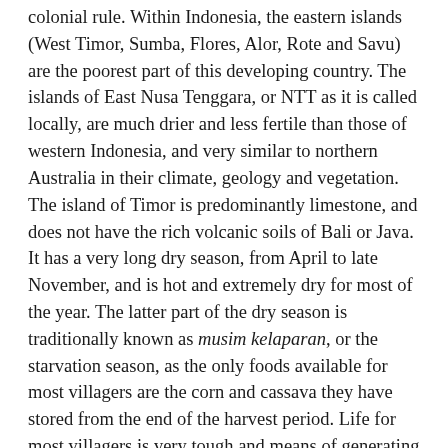colonial rule. Within Indonesia, the eastern islands (West Timor, Sumba, Flores, Alor, Rote and Savu) are the poorest part of this developing country. The islands of East Nusa Tenggara, or NTT as it is called locally, are much drier and less fertile than those of western Indonesia, and very similar to northern Australia in their climate, geology and vegetation. The island of Timor is predominantly limestone, and does not have the rich volcanic soils of Bali or Java. It has a very long dry season, from April to late November, and is hot and extremely dry for most of the year. The latter part of the dry season is traditionally known as musim kelaparan, or the starvation season, as the only foods available for most villagers are the corn and cassava they have stored from the end of the harvest period. Life for most villagers is very tough and means of generating income are very limited. Many village children do not go beyond a primary school education as their families do not have the resources to support further study. Since the late 1990's life has been increasingly difficult for the West Timorese, due to a series of factors such as the Indonesian Monetary Crisis in